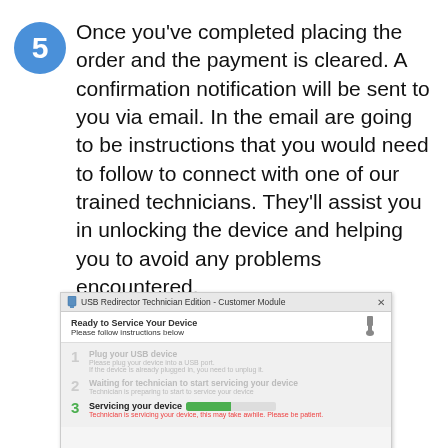5 Once you've completed placing the order and the payment is cleared. A confirmation notification will be sent to you via email. In the email are going to be instructions that you would need to follow to connect with one of our trained technicians. They'll assist you in unlocking the device and helping you to avoid any problems encountered.
[Figure (screenshot): Screenshot of USB Redirector Technician Edition - Customer Module dialog showing three steps: 1. Plug your USB device, 2. Waiting for technician to start servicing your device, 3. Servicing your device (active, with green progress bar). Header shows 'Ready to Service Your Device / Please follow instructions below'.]